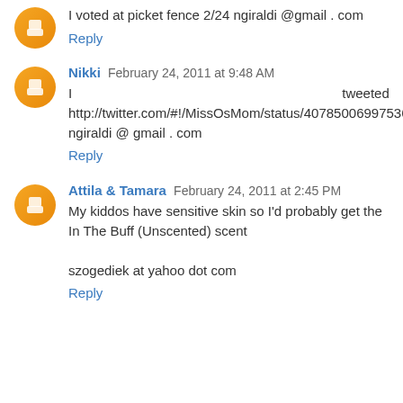I voted at picket fence 2/24 ngiraldi @gmail . com
Reply
Nikki  February 24, 2011 at 9:48 AM
I tweeted http://twitter.com/#!/MissOsMom/status/4078500699753676 8
ngiraldi @ gmail . com
Reply
Attila & Tamara  February 24, 2011 at 2:45 PM
My kiddos have sensitive skin so I'd probably get the In The Buff (Unscented) scent

szogediek at yahoo dot com
Reply